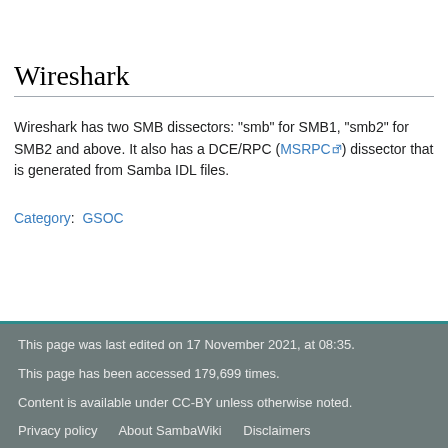Wireshark
Wireshark has two SMB dissectors: "smb" for SMB1, "smb2" for SMB2 and above. It also has a DCE/RPC (MSRPC) dissector that is generated from Samba IDL files.
Category: GSOC
This page was last edited on 17 November 2021, at 08:35.
This page has been accessed 179,699 times.
Content is available under CC-BY unless otherwise noted.
Privacy policy   About SambaWiki   Disclaimers